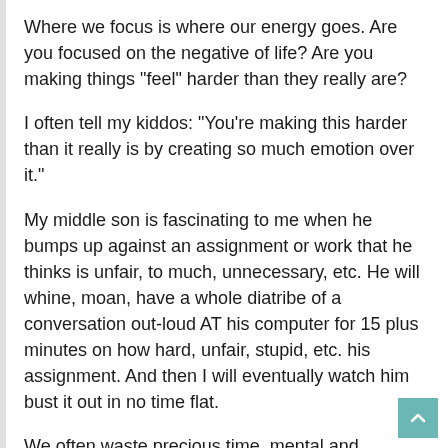Where we focus is where our energy goes. Are you focused on the negative of life? Are you making things "feel" harder than they really are?
I often tell my kiddos: "You're making this harder than it really is by creating so much emotion over it."
My middle son is fascinating to me when he bumps up against an assignment or work that he thinks is unfair, to much, unnecessary, etc. He will whine, moan, have a whole diatribe of a conversation out-loud AT his computer for 15 plus minutes on how hard, unfair, stupid, etc. his assignment. And then I will eventually watch him bust it out in no time flat.
We often waste precious time, mental and emotional energy by creating a story in our minds about how hard something is. Then we procrastinate more and become even more drained and stuck than we were.
God doesn't want us mired in a pit of pity, anxiety,